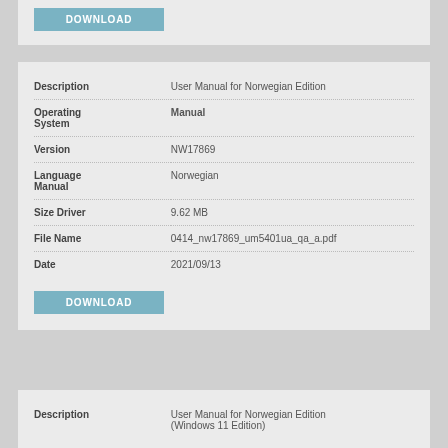DOWNLOAD
| Field | Value |
| --- | --- |
| Description | User Manual for Norwegian Edition |
| Operating System | Manual |
| Version | NW17869 |
| Language Manual | Norwegian |
| Size Driver | 9.62 MB |
| File Name | 0414_nw17869_um5401ua_qa_a.pdf |
| Date | 2021/09/13 |
DOWNLOAD
| Field | Value |
| --- | --- |
| Description | User Manual for Norwegian Edition (Windows 11 Edition) |